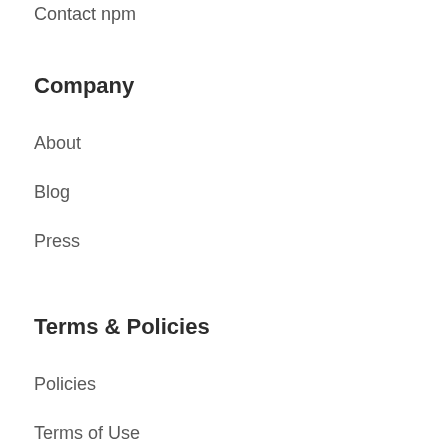Contact npm
Company
About
Blog
Press
Terms & Policies
Policies
Terms of Use
Code of Conduct